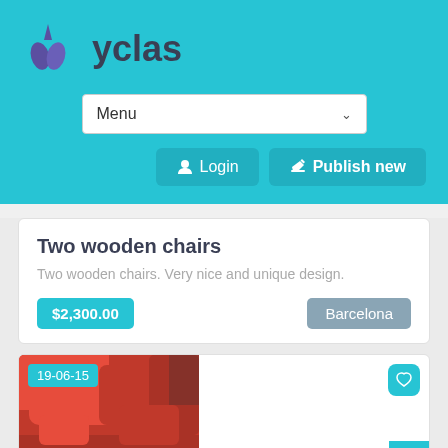[Figure (logo): Yclas logo with teal droplet/leaf icon and 'yclas' wordmark in dark text]
yclas
Menu
Login
Publish new
Two wooden chairs
Two wooden chairs. Very nice and unique design.
$2,300.00
Barcelona
19-06-15
[Figure (photo): Photo of red/orange upholstered furniture/chairs]